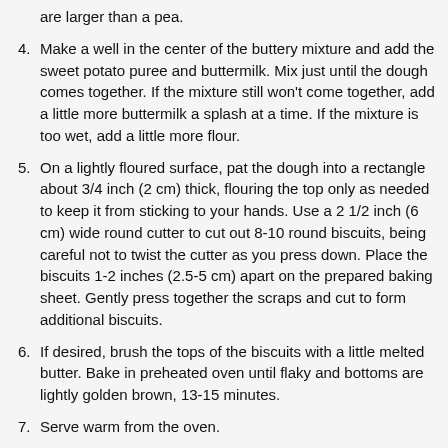are larger than a pea.
4. Make a well in the center of the buttery mixture and add the sweet potato puree and buttermilk. Mix just until the dough comes together. If the mixture still won't come together, add a little more buttermilk a splash at a time. If the mixture is too wet, add a little more flour.
5. On a lightly floured surface, pat the dough into a rectangle about 3/4 inch (2 cm) thick, flouring the top only as needed to keep it from sticking to your hands. Use a 2 1/2 inch (6 cm) wide round cutter to cut out 8-10 round biscuits, being careful not to twist the cutter as you press down. Place the biscuits 1-2 inches (2.5-5 cm) apart on the prepared baking sheet. Gently press together the scraps and cut to form additional biscuits.
6. If desired, brush the tops of the biscuits with a little melted butter. Bake in preheated oven until flaky and bottoms are lightly golden brown, 13-15 minutes.
7. Serve warm from the oven.